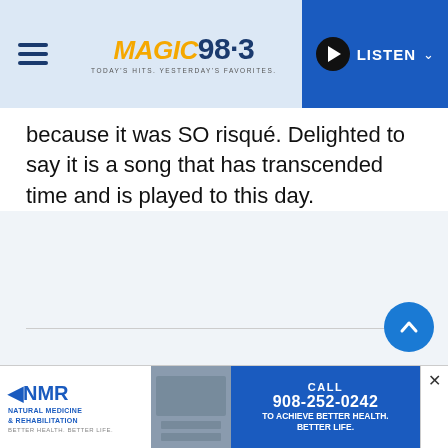Magic 98.3 – LISTEN
because it was SO risqué. Delighted to say it is a song that has transcended time and is played to this day.
[Figure (screenshot): NMR Natural Medicine & Rehabilitation advertisement banner with phone number 908-252-0242]